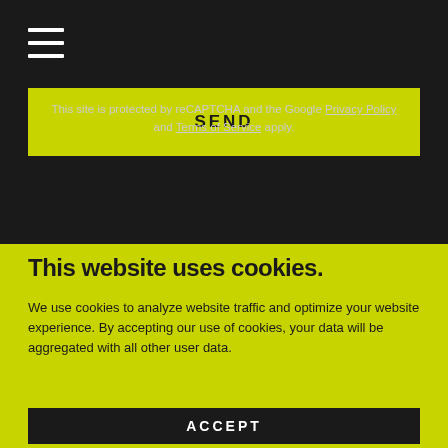[Figure (other): Hamburger menu icon (three horizontal white lines on dark background)]
SEND
This site is protected by reCAPTCHA and the Google Privacy Policy and Terms of Service apply.
This website uses cookies.
We use cookies to analyze website traffic and optimize your website experience. By accepting our use of cookies, your data will be aggregated with all other user data.
ACCEPT